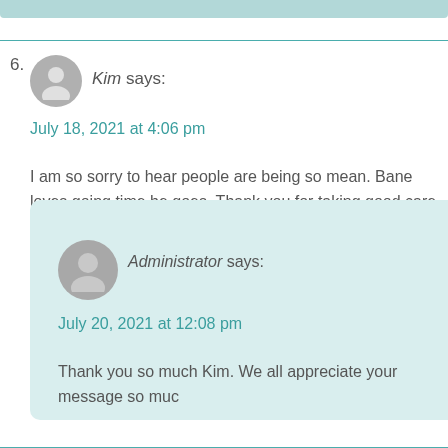6. Kim says:
July 18, 2021 at 4:06 pm
I am so sorry to hear people are being so mean. Bane loves going time he goes. Thank you for taking good care of him whenever he is
Administrator says:
July 20, 2021 at 12:08 pm
Thank you so much Kim. We all appreciate your message so muc